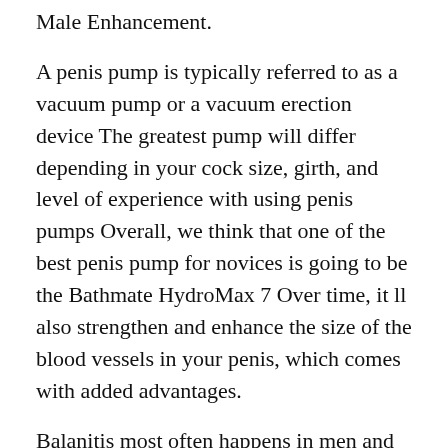Male Enhancement.
A penis pump is typically referred to as a vacuum pump or a vacuum erection device The greatest pump will differ depending in your cock size, girth, and level of experience with using penis pumps Overall, we think that one of the best penis pump for novices is going to be the Bathmate HydroMax 7 Over time, it ll also strengthen and enhance the size of the blood vessels in your penis, which comes with added advantages.
Balanitis most often happens in men and boys who have not been circumcised , and who have poor hygiene Inflammation can happen if the delicate pores and skin beneath the foreskin isn t washed often, allowing sweat, debris, lifeless pores and skin and micro organism to gather underneath the foreskin and trigger irritation The